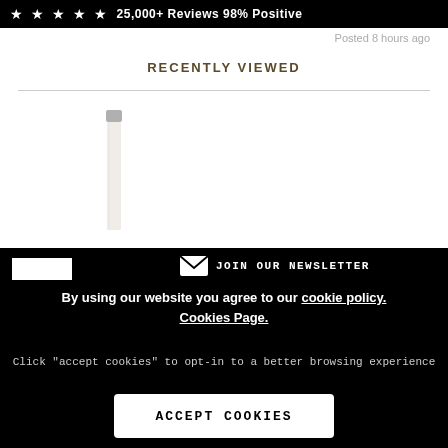★ ★ ★ ★ ★ 25,000+ Reviews 98% Positive
Posted 8 hours ago
RECENTLY VIEWED
[Figure (photo): A tall slender white cosmetic product/pen on a white background]
JOIN OUR NEWSLETTER
By using our website you agree to our cookie policy. Cookies Page.
Click "accept cookies" to opt-in to a better browsing experience
ACCEPT COOKIES